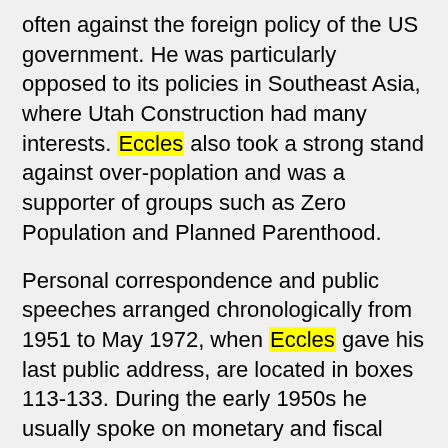often against the foreign policy of the US government. He was particularly opposed to its policies in Southeast Asia, where Utah Construction had many interests. Eccles also took a strong stand against over-poplation and was a supporter of groups such as Zero Population and Planned Parenthood.
Personal correspondence and public speeches arranged chronologically from 1951 to May 1972, when Eccles gave his last public address, are located in boxes 113-133. During the early 1950s he usually spoke on monetary and fiscal topics. By 1957 he had begun to question US Cold War policies and believed the United States should recognize Red China. By 1959 over-population was an issue which Eccles addressed often. His next area of interest and the one about which he spoke most vociferously was the involvement of the United States in Vietnam. Speeches on this topic are accompanied by related